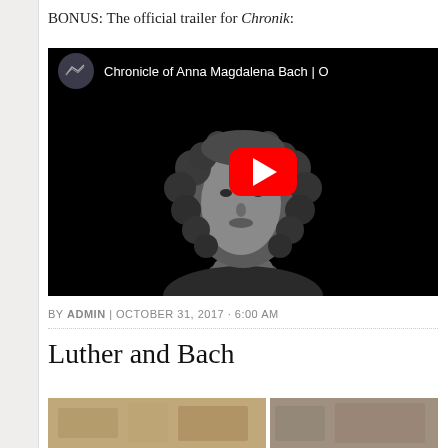BONUS: The official trailer for Chronik:
[Figure (screenshot): YouTube video embed showing Chronicle of Anna Magdalena Bach with a black and white portrait of Bach and a red YouTube play button overlay]
BY ADMIN | OCTOBER 31, 2017 · 6:00 AM
Luther and Bach
[Figure (photo): Partial image at bottom of page, appears to be a historical illustration or photo split into two sections]